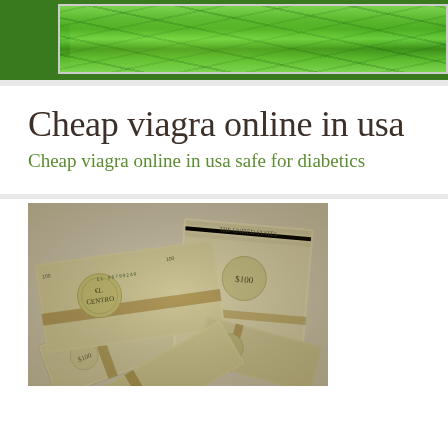[Figure (photo): Green terraced fields or tea plantation aerial view, cropped at top of page]
Cheap viagra online in usa
Cheap viagra online in usa safe for diabetics
[Figure (photo): Stacks of US $100 dollar bills bundled with rubber bands, scattered and piled on top of each other]